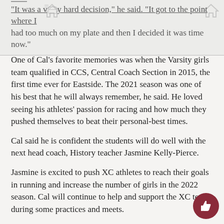"It was a very hard decision," he said. "It got to the point where I had too much on my plate and then I decided it was time now."
One of Cal's favorite memories was when the Varsity girls team qualified in CCS, Central Coach Section in 2015, the first time ever for Eastside. The 2021 season was one of his best that he will always remember, he said. He loved seeing his athletes' passion for racing and how much they pushed themselves to beat their personal-best times.
Cal said he is confident the students will do well with the next head coach, History teacher Jasmine Kelly-Pierce.
Jasmine is excited to push XC athletes to reach their goals in running and increase the number of girls in the 2022 season. Cal will continue to help and support the XC team during some practices and meets.
"Cross Country is a beautiful sport and I love it," Jasmine said.
In Track and Field former coach Simon Cassidy will not return because he has a new position coaching a swim team.